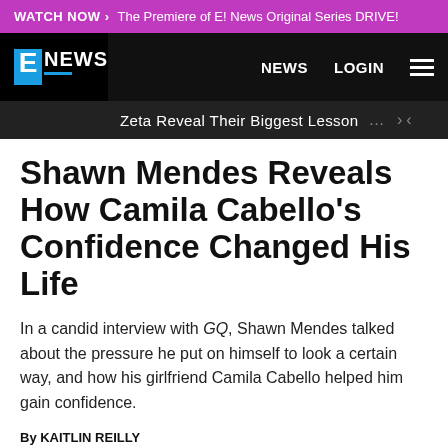WATCH NOW › The Premiere of E! News Original Series DRIVE!
E NEWS  NEWS  LOGIN
Zeta Reveal Their Biggest Lesson
Shawn Mendes Reveals How Camila Cabello's Confidence Changed His Life
In a candid interview with GQ, Shawn Mendes talked about the pressure he put on himself to look a certain way, and how his girlfriend Camila Cabello helped him gain confidence.
By KAITLIN REILLY
NOV 00, 0000 0:00 PM · TAGS